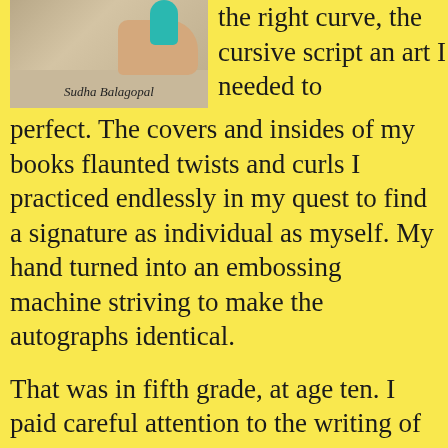[Figure (photo): A hand holding a pen writing on paper, with the name 'Sudha Balagopal' visible as a caption/watermark on the photo.]
the right curve, the cursive script an art I needed to perfect. The covers and insides of my books flaunted twists and curls I  practiced endlessly in my quest to find a signature as individual as myself. My hand turned into an embossing machine striving to make the autographs identical.
That was in fifth grade, at age ten. I paid careful attention to the writing of my name for I believed then that the two words were an extension of myself and embodied my spirit.